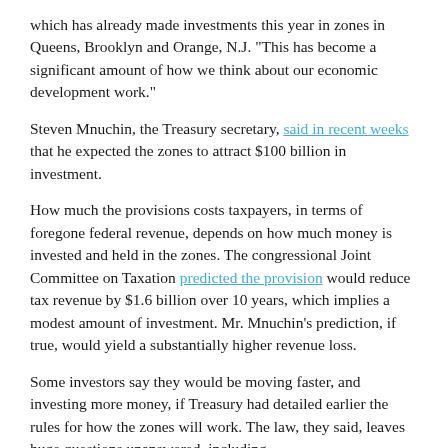which has already made investments this year in zones in Queens, Brooklyn and Orange, N.J. "This has become a significant amount of how we think about our economic development work."
Steven Mnuchin, the Treasury secretary, said in recent weeks that he expected the zones to attract $100 billion in investment.
How much the provisions costs taxpayers, in terms of foregone federal revenue, depends on how much money is invested and held in the zones. The congressional Joint Committee on Taxation predicted the provision would reduce tax revenue by $1.6 billion over 10 years, which implies a modest amount of investment. Mr. Mnuchin's prediction, if true, would yield a substantially higher revenue loss.
Some investors say they would be moving faster, and investing more money, if Treasury had detailed earlier the rules for how the zones will work. The law, they said, leaves huge questions unanswered, including